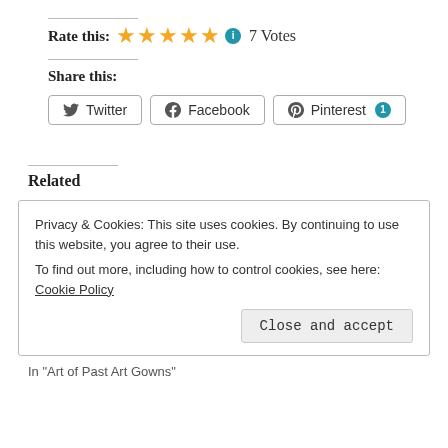Rate this: ★★★★★ ℹ 7 Votes
Share this:
Twitter  Facebook  Pinterest 1
Related
Privacy & Cookies: This site uses cookies. By continuing to use this website, you agree to their use. To find out more, including how to control cookies, see here: Cookie Policy
Close and accept
In "Art of Past Art Gowns"